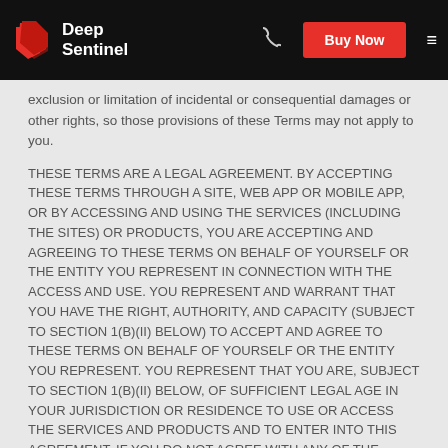Deep Sentinel | Buy Now
exclusion or limitation of incidental or consequential damages or other rights, so those provisions of these Terms may not apply to you.
THESE TERMS ARE A LEGAL AGREEMENT. BY ACCEPTING THESE TERMS THROUGH A SITE, WEB APP OR MOBILE APP, OR BY ACCESSING AND USING THE SERVICES (INCLUDING THE SITES) OR PRODUCTS, YOU ARE ACCEPTING AND AGREEING TO THESE TERMS ON BEHALF OF YOURSELF OR THE ENTITY YOU REPRESENT IN CONNECTION WITH THE ACCESS AND USE. YOU REPRESENT AND WARRANT THAT YOU HAVE THE RIGHT, AUTHORITY, AND CAPACITY (SUBJECT TO SECTION 1(b)(ii) BELOW) TO ACCEPT AND AGREE TO THESE TERMS ON BEHALF OF YOURSELF OR THE ENTITY YOU REPRESENT. YOU REPRESENT THAT YOU ARE, SUBJECT TO SECTION 1(b)(ii) BELOW, OF SUFFICIENT LEGAL AGE IN YOUR JURISDICTION OR RESIDENCE TO USE OR ACCESS THE SERVICES AND PRODUCTS AND TO ENTER INTO THIS AGREEMENT. IF YOU DO NOT AGREE WITH ANY OF THE